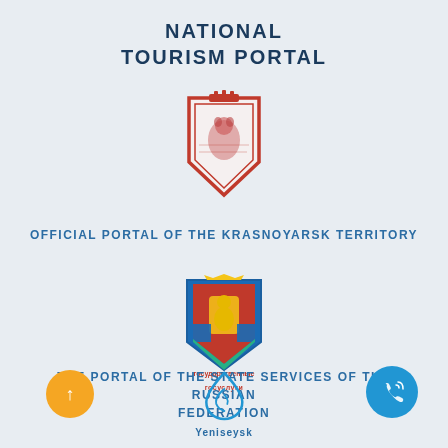NATIONAL TOURISM PORTAL
[Figure (logo): Coat of arms / shield logo with red border, ornate design on light background]
OFFICIAL PORTAL OF THE KRASNOYARSK TERRITORY
[Figure (logo): Krasnoyarsk Territory coat of arms with colorful heraldic design and text 'государственные услуги' / gosuslugi.ru]
THE PORTAL OF THE STATE SERVICES OF THE RUSSIAN FEDERATION
[Figure (logo): Yellow circular up-arrow button]
[Figure (logo): Yeniseysk logo with water drop / spiral icon and text 'Yeniseysk']
[Figure (logo): Blue circular phone/call button icon]